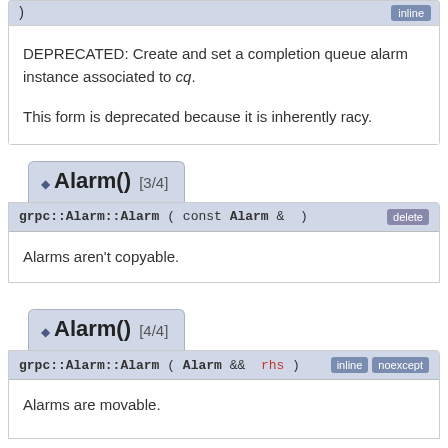) [inline badge at top]
DEPRECATED: Create and set a completion queue alarm instance associated to cq.

This form is deprecated because it is inherently racy.
◆ Alarm() [3/4]
grpc::Alarm::Alarm ( const Alarm &  ) [delete]
Alarms aren't copyable.
◆ Alarm() [4/4]
grpc::Alarm::Alarm ( Alarm &&  rhs ) [inline] [noexcept]
Alarms are movable.